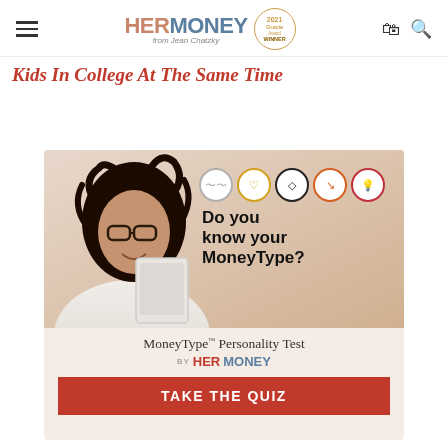HerMoney from Jean Chatzky — 2021 Gracie Award Winner
Kids In College At The Same Time
[Figure (infographic): HerMoney MoneyType Personality Test advertisement. Shows a woman with glasses holding a tablet, five personality type icons in circles, bold text 'Do you know your MoneyType?', subtext 'MoneyType™ Personality Test BY HerMoney', and a red 'TAKE THE QUIZ' button.]